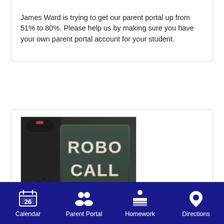James Ward is trying to get our parent portal up from 51% to 80%. Please help us by making sure you have your own parent portal account for your student.
[Figure (photo): Photo of a telephone with '3D ROBO CALL' text displayed on the phone screen/display panel]
Robo-Calls
Calendar  Parent Portal  Homework  Directions